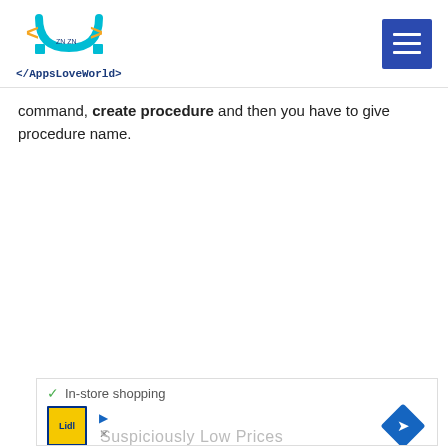[Figure (logo): AppsLoveWorld logo with magnet icon and code brackets, blue and yellow color scheme]
command, create procedure and then you have to give procedure name.
CREATE PROCEDURE spgetcustomer
AS
BEGIN
select CustomerName,CustomerCity,CustomerSal
END
[Figure (screenshot): Advertisement showing In-store shopping with Lidl logo and navigation arrow icon, Suspiciously Low Prices text]